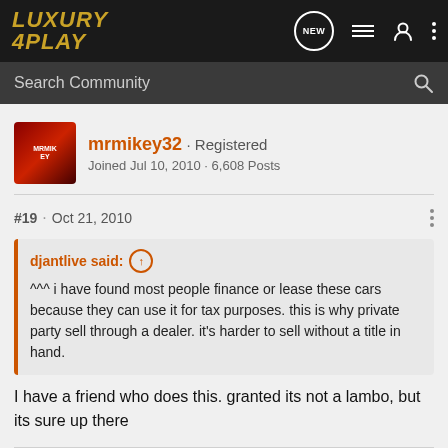LUXURY 4PLAY
Search Community
mrmikey32 · Registered
Joined Jul 10, 2010 · 6,608 Posts
#19 · Oct 21, 2010
djantlive said: ^^^ i have found most people finance or lease these cars because they can use it for tax purposes. this is why private party sell through a dealer. it's harder to sell without a title in hand.
I have a friend who does this. granted its not a lambo, but its sure up there